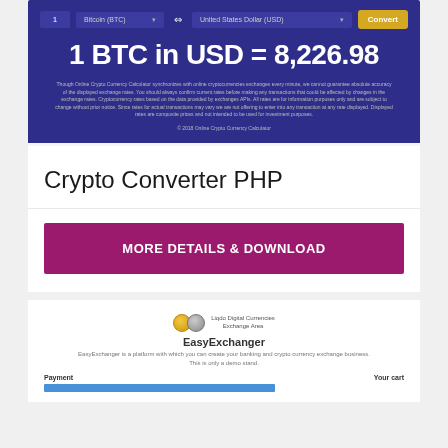[Figure (screenshot): Screenshot of a cryptocurrency converter website showing '1 BTC in USD = 8,226.98' with a dark blue/indigo background, converter UI bar with Bitcoin (BTC) to United States Dollar (USD) selector and yellow Convert button, plus disclaimer text and copyright line.]
Crypto Converter PHP
MORE DETAILS & DOWNLOAD
[Figure (screenshot): Screenshot of EasyExchanger platform showing logo with gold and silver coin icons, site title 'EasyExchanger', tagline about creating currency exchange business, and Payment / Your cart columns at the bottom.]